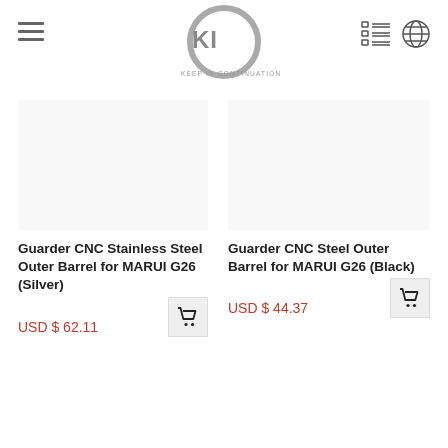[Figure (logo): KIC Keep In Continuation logo - grey circle with red curved shape and KIC text]
Guarder CNC Stainless Steel Outer Barrel for MARUI G26 (Silver)
Guarder CNC Steel Outer Barrel for MARUI G26 (Black)
USD $ 62.11
USD $ 44.37